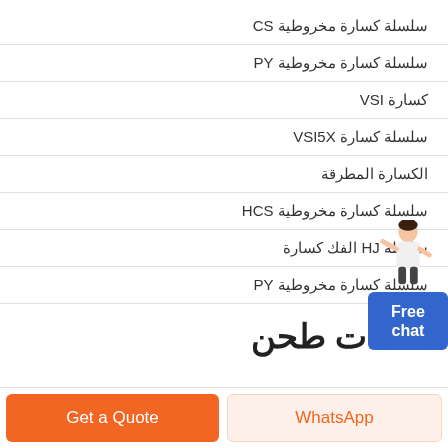سلسلة كسارة مخروطية CS
سلسلة كسارة مخروطية PY
كسارة VSI
سلسلة كسارة VSI5X
الكسارة المطرقة
سلسلة كسارة مخروطية HCS
سلسلة HJ الفك كسارة
سلسلة كسارة مخروطية PY
معدات طحن
[Figure (illustration): Chat widget with a person figure pointing, and a blue 'Free chat' button]
Get a Quote
WhatsApp